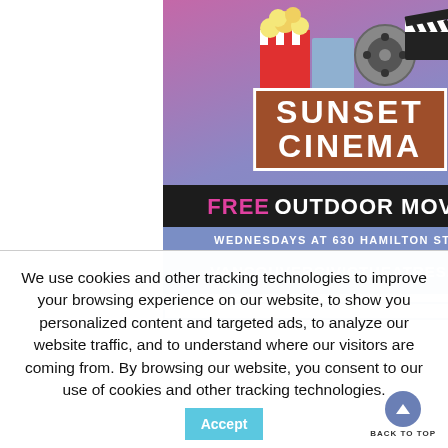[Figure (illustration): Sunset Cinema advertisement. Features cinema-themed icons (popcorn, film reel, clapperboard) at top on pink-purple gradient. Brown box with white border contains 'SUNSET CINEMA' text. Black bar reads 'FREE OUTDOOR MOVIES'. Blue section reads 'WEDNESDAYS AT 630 HAMILTON STREET'. Bottom reads 'VANCOUVERCIVICTHEATRES.COM'.]
We use cookies and other tracking technologies to improve your browsing experience on our website, to show you personalized content and targeted ads, to analyze our website traffic, and to understand where our visitors are coming from. By browsing our website, you consent to our use of cookies and other tracking technologies.